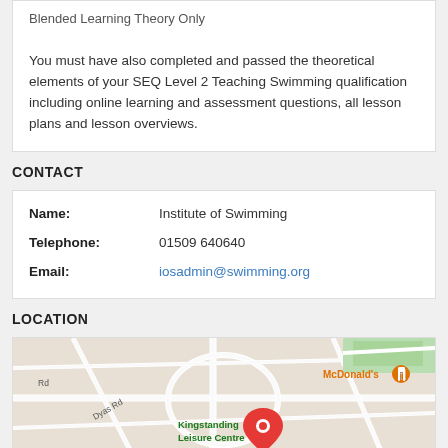Blended Learning Theory Only

You must have also completed and passed the theoretical elements of your SEQ Level 2 Teaching Swimming qualification including online learning and assessment questions, all lesson plans and lesson overviews.
CONTACT
| Name: | Institute of Swimming |
| Telephone: | 01509 640640 |
| Email: | iosadmin@swimming.org |
LOCATION
[Figure (map): Google Maps screenshot showing Kingstanding Leisure Centre area with a red location pin. McDonald's marked with orange icon. Streets include Dyas Rd visible on left side. Green parkway area visible at top right.]